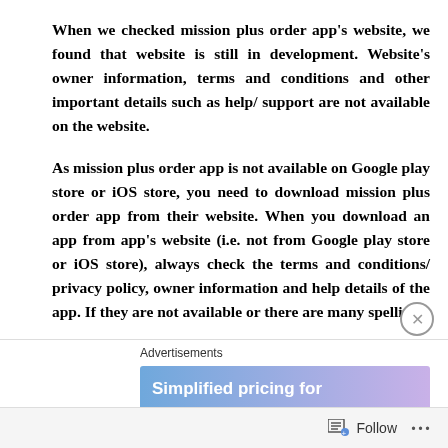When we checked mission plus order app's website, we found that website is still in development. Website's owner information, terms and conditions and other important details such as help/ support are not available on the website.
As mission plus order app is not available on Google play store or iOS store, you need to download mission plus order app from their website. When you download an app from app's website (i.e. not from Google play store or iOS store), always check the terms and conditions/ privacy policy, owner information and help details of the app. If they are not available or there are many spelling/
Advertisements
[Figure (other): Advertisement banner with gradient blue-purple background showing text 'Simplified pricing for']
Follow ···